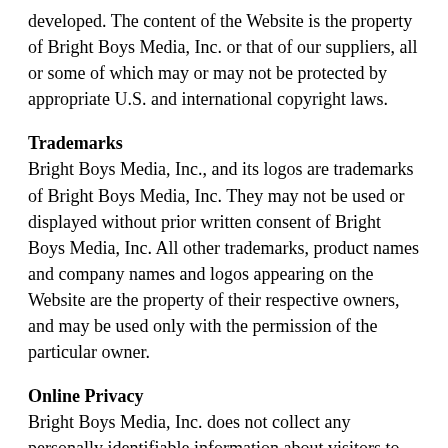developed.  The content of the Website is the property of Bright Boys Media, Inc. or that of our suppliers, all or some of which may or may not be protected by appropriate U.S. and international copyright laws.
Trademarks
Bright Boys Media, Inc., and its logos are trademarks of Bright Boys Media, Inc. They may not be used or displayed without prior written consent of Bright Boys Media, Inc.  All other trademarks, product names and company names and logos appearing on the Website are the property of their respective owners, and may be used only with the permission of the particular owner.
Online Privacy
Bright Boys Media, Inc. does not collect any personally identifiable information about visitors to the publicly available areas of the Website, including names, addresses, phone numbers or social security numbers.  Bright Boys Media, Inc. may collect